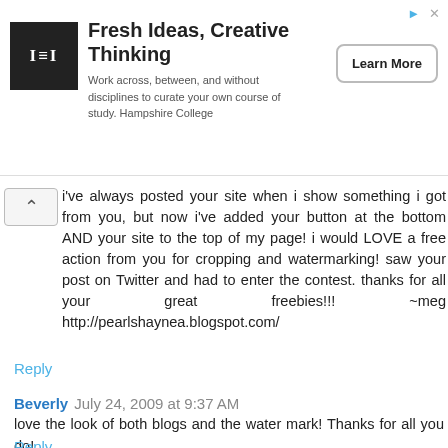[Figure (infographic): Advertisement banner for Hampshire College with logo, tagline 'Fresh Ideas, Creative Thinking', description text, and 'Learn More' button]
i've always posted your site when i show something i got from you, but now i've added your button at the bottom AND your site to the top of my page! i would LOVE a free action from you for cropping and watermarking! saw your post on Twitter and had to enter the contest. thanks for all your great freebies!!! ~meg http://pearlshaynea.blogspot.com/
Reply
Beverly July 24, 2009 at 9:37 AM
love the look of both blogs and the water mark! Thanks for all you do!
Reply